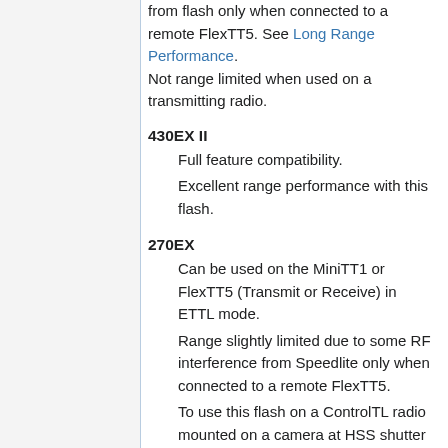from flash only when connected to a remote FlexTT5. See Long Range Performance. Not range limited when used on a transmitting radio.
430EX II
Full feature compatibility.
Excellent range performance with this flash.
270EX
Can be used on the MiniTT1 or FlexTT5 (Transmit or Receive) in ETTL mode.
Range slightly limited due to some RF interference from Speedlite only when connected to a remote FlexTT5.
To use this flash on a ControlTL radio mounted on a camera at HSS shutter speeds, you first need to enable HSS